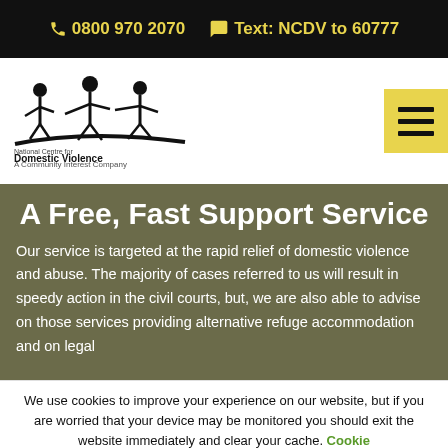📞 0800 970 2070  💬 Text: NCDV to 60777
[Figure (logo): National Centre for Domestic Violence logo with three figures and text 'National Centre for Domestic Violence A Community Interest Company']
A Free, Fast Support Service
Our service is targeted at the rapid relief of domestic violence and abuse. The majority of cases referred to us will result in speedy action in the civil courts, but, we are also able to advise on those services providing alternative refuge accommodation and on legal
We use cookies to improve your experience on our website, but if you are worried that your device may be monitored you should exit the website immediately and clear your cache. Cookie settings
CLOSE